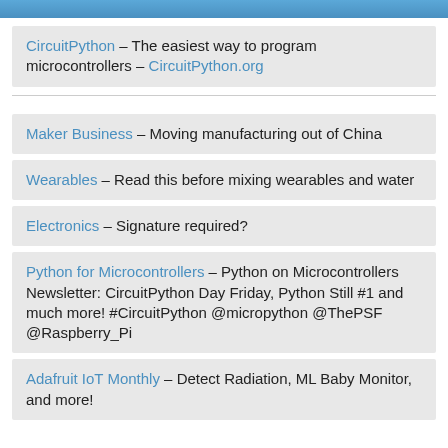[Figure (photo): Top image strip showing partial photograph]
CircuitPython – The easiest way to program microcontrollers – CircuitPython.org
Maker Business – Moving manufacturing out of China
Wearables – Read this before mixing wearables and water
Electronics – Signature required?
Python for Microcontrollers – Python on Microcontrollers Newsletter: CircuitPython Day Friday, Python Still #1 and much more! #CircuitPython @micropython @ThePSF @Raspberry_Pi
Adafruit IoT Monthly – Detect Radiation, ML Baby Monitor, and more!